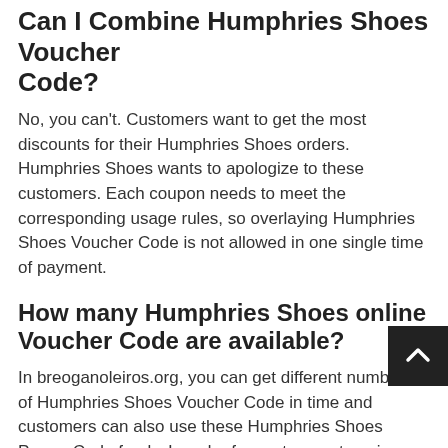Can I Combine Humphries Shoes Voucher Code?
No, you can't. Customers want to get the most discounts for their Humphries Shoes orders. Humphries Shoes wants to apologize to these customers. Each coupon needs to meet the corresponding usage rules, so overlaying Humphries Shoes Voucher Code is not allowed in one single time of payment.
How many Humphries Shoes online Voucher Code are available?
In breoganoleiros.org, you can get different numbers of Humphries Shoes Voucher Code in time and customers can also use these Humphries Shoes Promo Code freely. In order for customers to enjoy exclusive Coupon Code every time they shop at Humphries Shoes, breoganoleiros.org will continue to provide promotional information!